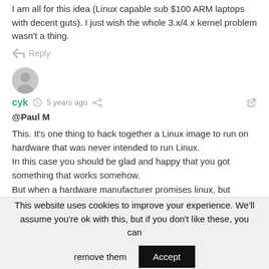I am all for this idea (Linux capable sub $100 ARM laptops with decent guts). I just wish the whole 3.x/4.x kernel problem wasn't a thing.
Reply
[Figure (illustration): User avatar circle icon for user cyk]
cyk  5 years ago
@Paul M
This. It's one thing to hack together a Linux image to run on hardware that was never intended to run Linux.
In this case you should be glad and happy that you got something that works somehow.
But when a hardware manufacturer promises linux, but
This website uses cookies to improve your experience. We'll assume you're ok with this, but if you don't like these, you can remove them  Accept